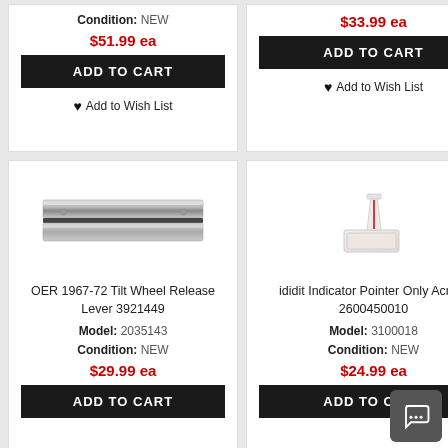Condition: NEW
$51.99 ea
ADD TO CART
♥ Add to Wish List
$33.99 ea
ADD TO CART
♥ Add to Wish List
[Figure (photo): OER 1967-72 Tilt Wheel Release Lever product photo showing two metal rails]
OER 1967-72 Tilt Wheel Release Lever 3921449
Model: 2035143
Condition: NEW
$29.99 ea
ADD TO CART
[Figure (photo): ididit Indicator Pointer Only Acrylic product photo showing small acrylic pointer piece]
ididit Indicator Pointer Only Acrylic 2600450010
Model: 3100018
Condition: NEW
$24.99 ea
ADD TO CART